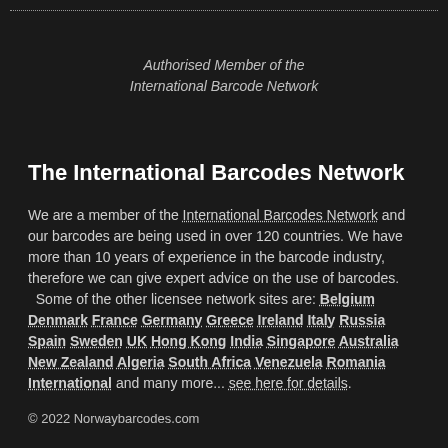Authorised Member of the International Barcode Network
The International Barcodes Network
We are a member of the International Barcodes Network and our barcodes are being used in over 120 countries. We have more than 10 years of experience in the barcode industry, therefore we can give expert advice on the use of barcodes. Some of the other licensee network sites are: Belgium Denmark France Germany Greece Ireland Italy Russia Spain Sweden UK Hong Kong India Singapore Australia New Zealand Algeria South Africa Venezuela Romania International and many more... see here for details.
© 2022 Norwaybarcodes.com